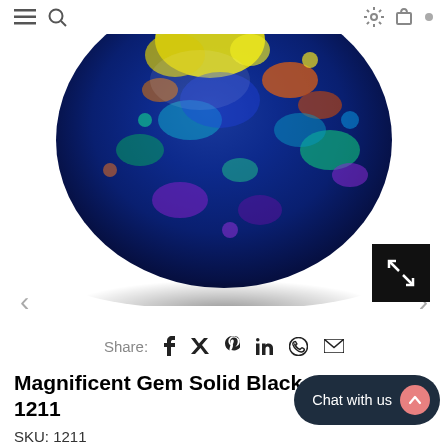[Figure (photo): Close-up of a magnificent gem solid black opal showing vivid multicolor play-of-color (blue, yellow, green, purple) on a dark background]
Share: f 𝕏 𝒫 in ⊙ ✉
Magnificent Gem Solid Black ... / 1211
SKU: 1211